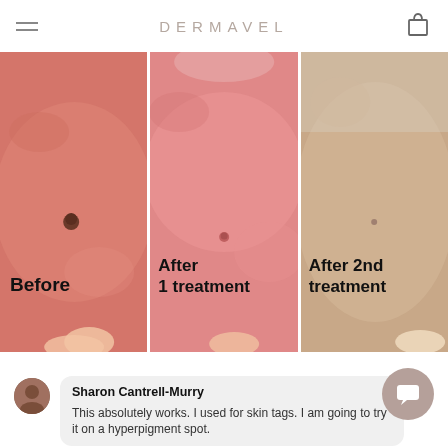DERMAVEL
[Figure (photo): Three-panel before/after comparison of skin treatment. Left panel: 'Before' showing skin with a raised mole/skin tag. Middle panel: 'After 1 treatment' showing reduced skin tag with slight redness. Right panel: 'After 2nd treatment' showing significantly clearer skin with minimal mark remaining.]
Sharon Cantrell-Murry
This absolutely works. I used for skin tags. I am going to try it on a hyperpigment spot.